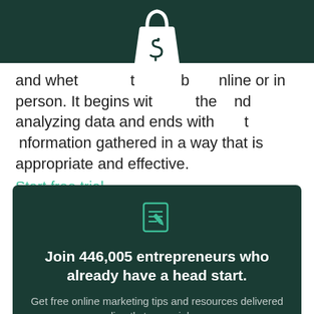[Figure (logo): Shopify shopping bag logo icon in white on dark green header background]
and whether they buy online or in person. It begins with the understanding and analyzing data and ends with using that information gathered in a way that is appropriate and effective.
Start free trial
[Figure (illustration): Teal/green notepad with pencil icon on dark green background]
Join 446,005 entrepreneurs who already have a head start.
Get free online marketing tips and resources delivered directly to your inbox.
Email address